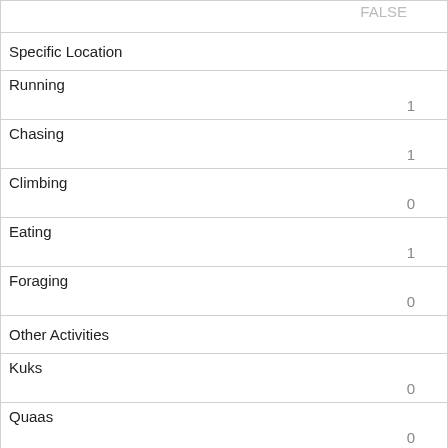| FALSE |
| Specific Location |  |
| Running | 1 |
| Chasing | 1 |
| Climbing | 0 |
| Eating | 1 |
| Foraging | 0 |
| Other Activities |  |
| Kuks | 0 |
| Quaas | 0 |
| Moans | 0 |